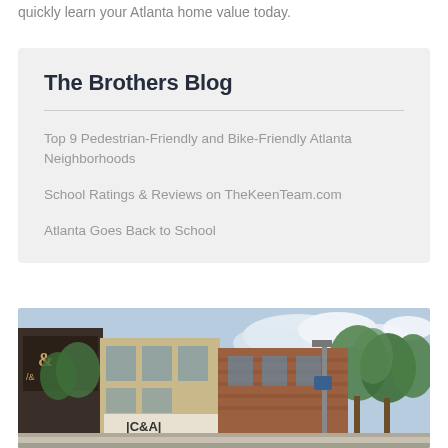quickly learn your Atlanta home value today.
The Brothers Blog
Top 9 Pedestrian-Friendly and Bike-Friendly Atlanta Neighborhoods
School Ratings & Reviews on TheKeenTeam.com
Atlanta Goes Back to School
[Figure (photo): Street-level photo of an Atlanta commercial neighborhood with brick buildings, storefronts including a 'C&A' sign, green trees, and blue sky with clouds.]